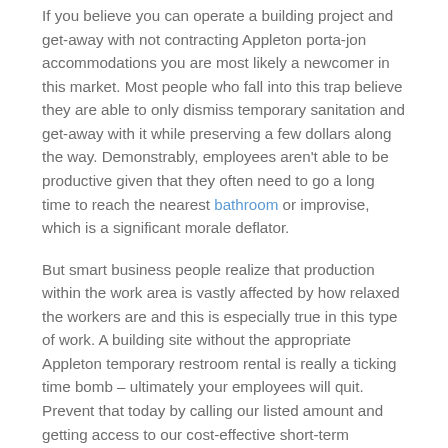If you believe you can operate a building project and get-away with not contracting Appleton porta-jon accommodations you are most likely a newcomer in this market. Most people who fall into this trap believe they are able to only dismiss temporary sanitation and get-away with it while preserving a few dollars along the way. Demonstrably, employees aren't able to be productive given that they often need to go a long time to reach the nearest bathroom or improvise, which is a significant morale deflator.
But smart business people realize that production within the work area is vastly affected by how relaxed the workers are and this is especially true in this type of work. A building site without the appropriate Appleton temporary restroom rental is really a ticking time bomb – ultimately your employees will quit. Prevent that today by calling our listed amount and getting access to our cost-effective short-term bathrooms!
Events, Household BBQs and Other Events May Use Portable Toilet Rentals in Appleton